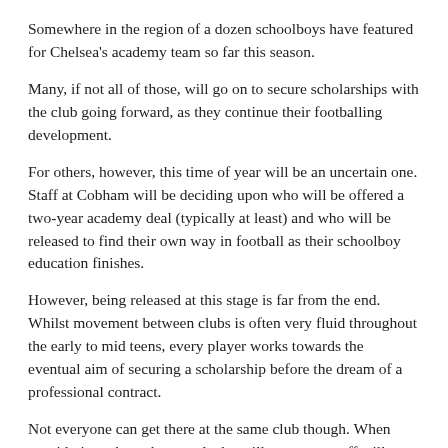Somewhere in the region of a dozen schoolboys have featured for Chelsea's academy team so far this season.
Many, if not all of those, will go on to secure scholarships with the club going forward, as they continue their footballing development.
For others, however, this time of year will be an uncertain one. Staff at Cobham will be deciding upon who will be offered a two-year academy deal (typically at least) and who will be released to find their own way in football as their schoolboy education finishes.
However, being released at this stage is far from the end. Whilst movement between clubs is often very fluid throughout the early to mid teens, every player works towards the eventual aim of securing a scholarship before the dream of a professional contract.
Not everyone can get there at the same club though. When considering who to keep and who will move on, staff will consider the make-up of the squad for the next season.
Taken into account here will be how many second-year players will continue their education in the Under-18s for a second season (a stage which is planned for many, forced by circumstance for others) and potential overseas signings – a commonplace occurance at a